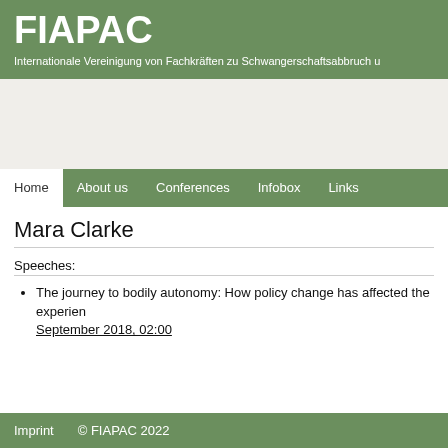FIAPAC
Internationale Vereinigung von Fachkräften zu Schwangerschaftsabbruch u
[Figure (other): Navigation banner image area (empty/banner)]
Home | About us | Conferences | Infobox | Links
Mara Clarke
Speeches:
The journey to bodily autonomy: How policy change has affected the experien… September 2018, 02:00
Imprint   © FIAPAC 2022